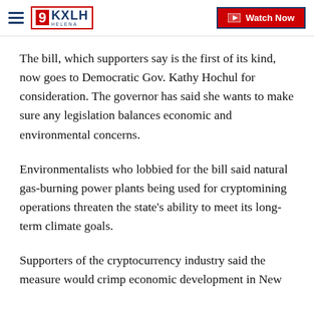9KXLH Helena — Watch Now
The bill, which supporters say is the first of its kind, now goes to Democratic Gov. Kathy Hochul for consideration. The governor has said she wants to make sure any legislation balances economic and environmental concerns.
Environmentalists who lobbied for the bill said natural gas-burning power plants being used for cryptomining operations threaten the state's ability to meet its long-term climate goals.
Supporters of the cryptocurrency industry said the measure would crimp economic development in New